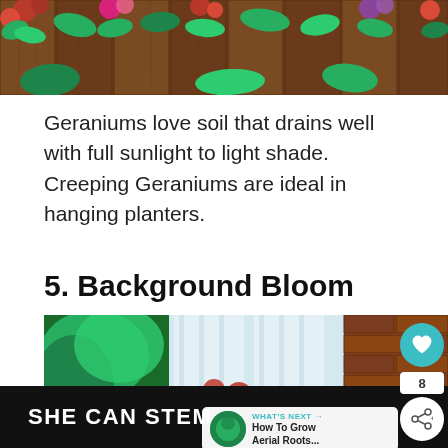[Figure (photo): Colorful flowers (red geraniums, pink flowers, green foliage) against a wooden fence background, top portion of page]
Geraniums love soil that drains well with full sunlight to light shade. Creeping Geraniums are ideal in hanging planters.
5. Background Bloom
[Figure (photo): Garden scene with purple and red geraniums and other colorful flowers in front of a window with white curtains, brick wall on right side. Heart/save button, share button, 'WHAT'S NEXT → How To Grow Aerial Roots...' overlay in lower right.]